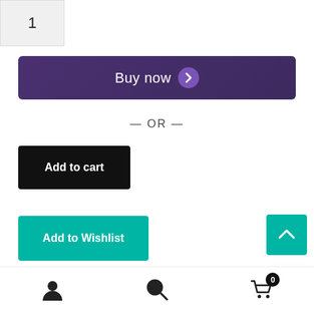1
Buy now
— OR —
Add to cart
Add to Wishlist
ISBN: 978-1-63117-350-9
Categories: Chemistry, Chemistry Research and Applications, Industrial and Technical Chemistry, Materials Science